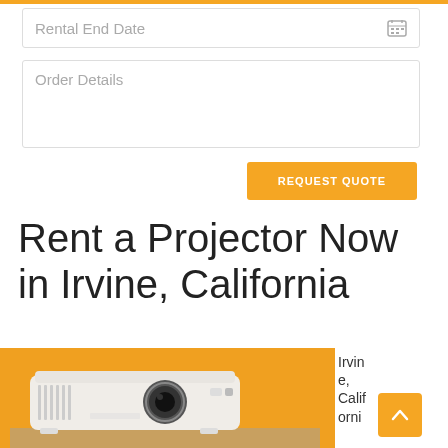Rental End Date
Order Details
REQUEST QUOTE
Rent a Projector Now in Irvine, California
[Figure (photo): White BenQ projector on a wooden surface against a yellow background]
Irvine, California